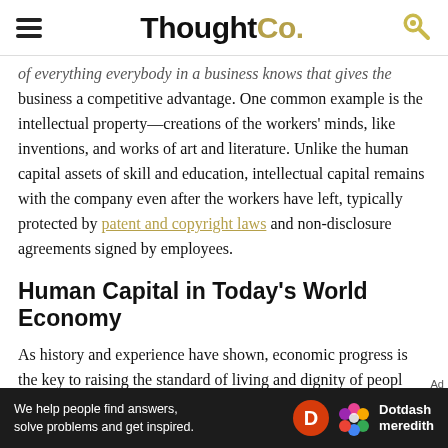ThoughtCo.
of everything everybody in a business knows that gives the business a competitive advantage. One common example is the intellectual property—creations of the workers' minds, like inventions, and works of art and literature. Unlike the human capital assets of skill and education, intellectual capital remains with the company even after the workers have left, typically protected by patent and copyright laws and non-disclosure agreements signed by employees.
Human Capital in Today's World Economy
As history and experience have shown, economic progress is the key to raising the standard of living and dignity of peopl
[Figure (other): Dotdash Meredith advertisement banner: 'We help people find answers, solve problems and get inspired.']